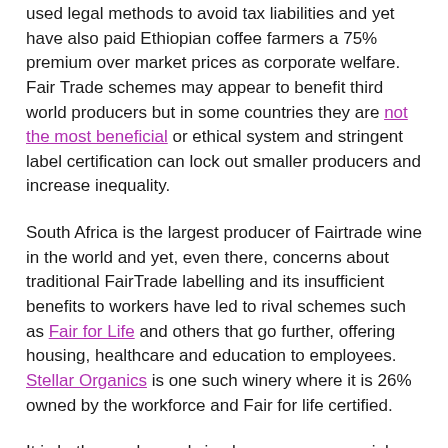used legal methods to avoid tax liabilities and yet have also paid Ethiopian coffee farmers a 75% premium over market prices as corporate welfare. Fair Trade schemes may appear to benefit third world producers but in some countries they are not the most beneficial or ethical system and stringent label certification can lock out smaller producers and increase inequality.
South Africa is the largest producer of Fairtrade wine in the world and yet, even there, concerns about traditional FairTrade labelling and its insufficient benefits to workers have led to rival schemes such as Fair for Life and others that go further, offering housing, healthcare and education to employees. Stellar Organics is one such winery where it is 26% owned by the workforce and Fair for life certified.
It is both complex and simple, we can use social media to produce “The People 2.0”, informatise and organise, communitise and unionise, we have the power… make